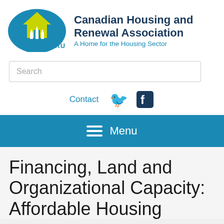[Figure (logo): Canadian Housing and Renewal Association logo: blue oval with yellow house and arrows icon, text CHRA ACHRU below]
Canadian Housing and Renewal Association
A Home for the Housing Sector
Search
Contact
Menu
Financing, Land and Organizational Capacity: Affordable Housing